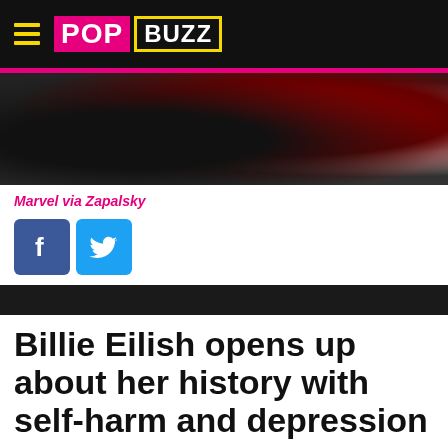PopBuzz
[Figure (photo): Dark photograph showing what appears to be a person wearing a black leather jacket and a red outfit, with a grey background]
Marvel via Zapalsky
[Figure (infographic): Facebook and Twitter social sharing icons]
Billie Eilish opens up about her history with self-harm and depression